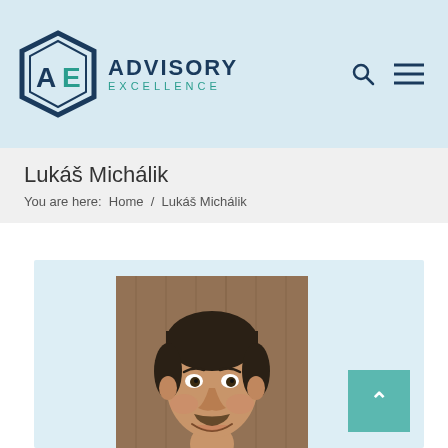[Figure (logo): Advisory Excellence logo with hexagon icon and text]
Lukáš Michálik
You are here:  Home  /  Lukáš Michálik
[Figure (photo): Professional headshot of Lukáš Michálik, a young man with dark hair and beard wearing a dark suit and tie, smiling, against a wood panel background]